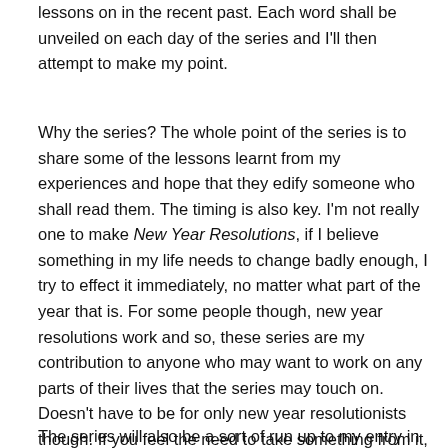lessons on in the recent past. Each word shall be unveiled on each day of the series and I'll then attempt to make my point.
Why the series? The whole point of the series is to share some of the lessons learnt from my experiences and hope that they edify someone who shall read them. The timing is also key. I'm not really one to make New Year Resolutions, if I believe something in my life needs to change badly enough, I try to effect it immediately, no matter what part of the year that is. For some people though, new year resolutions work and so, these series are my contribution to anyone who may want to work on any parts of their lives that the series may touch on. Doesn't have to be for only new year resolutionists though. If you feel the need to take something from it, pls feel free.
The series will also be a sort of run up to my entry in the